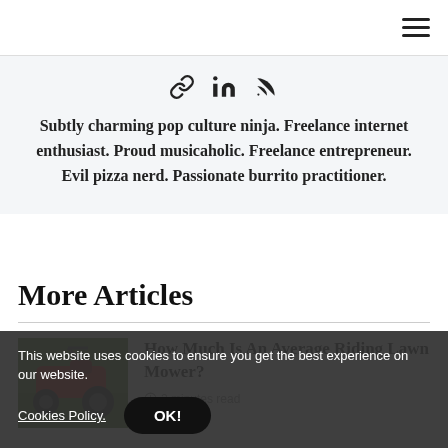Navigation bar with hamburger menu icon
[Figure (infographic): Author profile card with link, LinkedIn, and RSS icons followed by biography text]
Subtly charming pop culture ninja. Freelance internet enthusiast. Proud musicaholic. Freelance entrepreneur. Evil pizza nerd. Passionate burrito practitioner.
More Articles
[Figure (photo): Thumbnail photo of a red riding lawn mower on green grass]
How Much Is An Average Riding Lawn Mower?
2 minutes read
This website uses cookies to ensure you get the best experience on our website. Cookies Policy. OK!